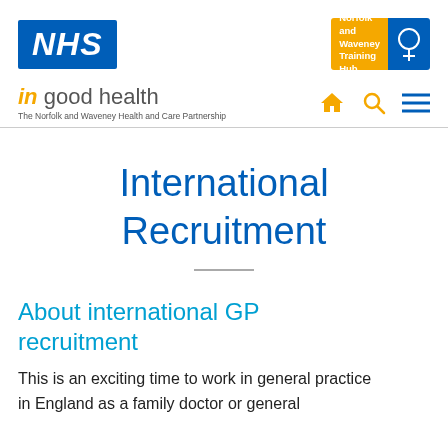[Figure (logo): NHS logo - white NHS text on blue background]
[Figure (logo): Norfolk and Waveney Training Hub logo - orange and blue]
[Figure (logo): In good health - The Norfolk and Waveney Health and Care Partnership logo with navigation icons]
International Recruitment
About international GP recruitment
This is an exciting time to work in general practice in England as a family doctor or general